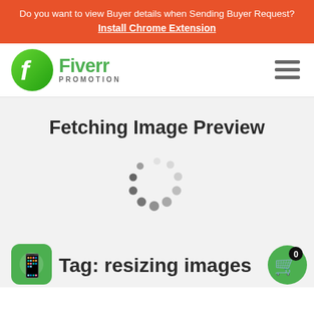Do you want to view Buyer details when Sending Buyer Request? Install Chrome Extension
[Figure (logo): Fiverr Promotion logo with green circular icon and text]
[Figure (other): Hamburger menu icon (three horizontal lines)]
Fetching Image Preview
[Figure (other): Loading spinner animation (circular dots)]
[Figure (other): WhatsApp icon button (green circle with phone icon)]
[Figure (other): Shopping cart button with badge showing 0]
Tag: resizing images